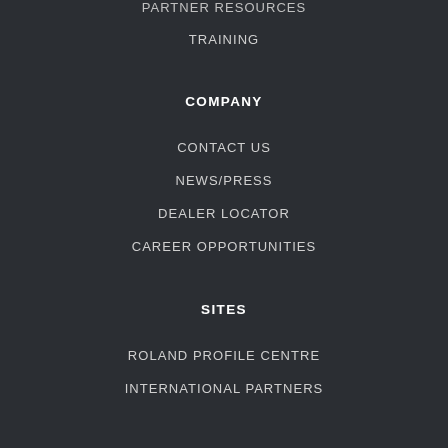PARTNER RESOURCES
TRAINING
COMPANY
CONTACT US
NEWS/PRESS
DEALER LOCATOR
CAREER OPPORTUNITIES
SITES
ROLAND PROFILE CENTRE
INTERNATIONAL PARTNERS